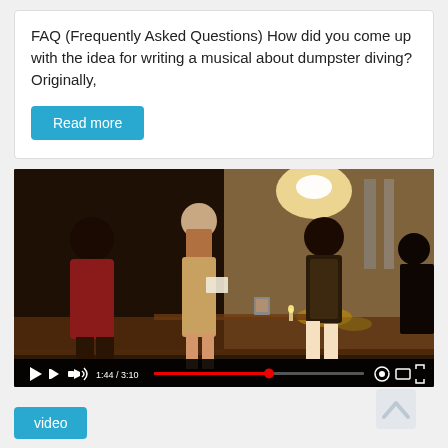FAQ (Frequently Asked Questions) How did you come up with the idea for writing a musical about dumpster diving? Originally,
Read more
[Figure (screenshot): Video player screenshot showing people dancing in a dimly lit room. Video progress bar shows 1:44 / 3:10.]
video